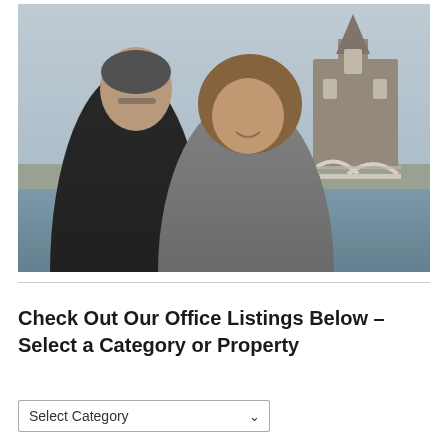[Figure (photo): Two people (a man and a woman) smiling and posing outdoors in front of a bridge and a church building. The man is on the left wearing a black shirt, the woman is on the right wearing a grey top. Background shows a waterway, white arched bridge, and gothic-style stone church.]
Check Out Our Office Listings Below – Select a Category or Property
Select Category